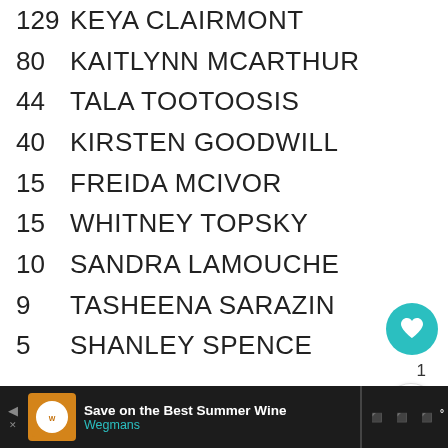129   KEYA CLAIRMONT
80   KAITLYNN MCARTHUR
44   TALA TOOTOOSIS
40   KIRSTEN GOODWILL
15   FREIDA MCIVOR
15   WHITNEY TOPSKY
10   SANDRA LAMOUCHE
9   TASHEENA SARAZIN
5   SHANLEY SPENCE
[Figure (screenshot): Heart/like button (teal circle), count of 1, share button, What's Next card with Manito Ahbee Contest thumbnail]
Save on the Best Summer Wine Wegmans [advertisement bar]